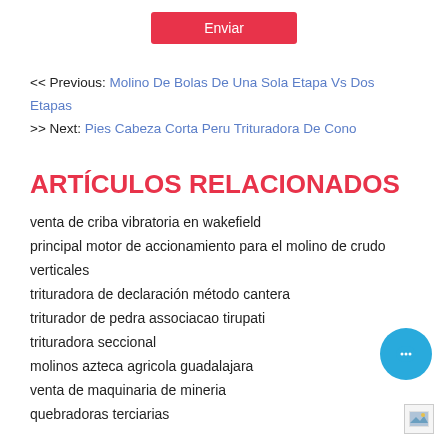[Figure (other): Red Enviar button at top of page]
<< Previous: Molino De Bolas De Una Sola Etapa Vs Dos Etapas
>> Next: Pies Cabeza Corta Peru Trituradora De Cono
ARTÍCULOS RELACIONADOS
venta de criba vibratoria en wakefield
principal motor de accionamiento para el molino de crudo verticales
trituradora de declaración método cantera
triturador de pedra associacao tirupati
trituradora seccional
molinos azteca agricola guadalajara
venta de maquinaria de mineria
quebradoras terciarias